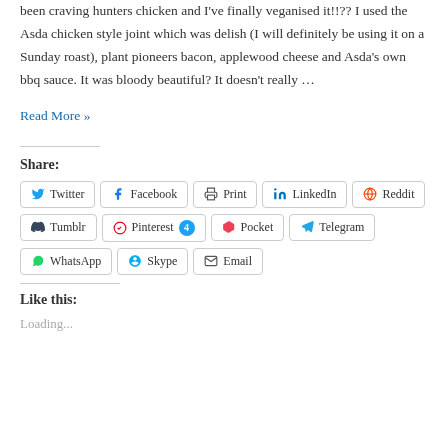been craving hunters chicken and I've finally veganised it!!?? I used the Asda chicken style joint which was delish (I will definitely be using it on a Sunday roast), plant pioneers bacon, applewood cheese and Asda's own bbq sauce. It was bloody beautiful? It doesn't really …
Read More »
Share:
Twitter
Facebook
Print
LinkedIn
Reddit
Tumblr
Pinterest 4
Pocket
Telegram
WhatsApp
Skype
Email
Like this:
Loading...